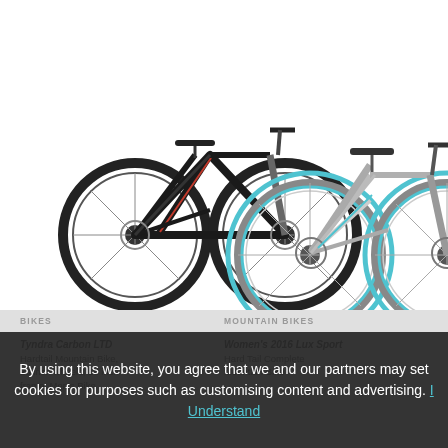[Figure (photo): Two mountain bikes on white background: a black men's hardtail mountain bike on the left, and a grey/teal women's mountain bike on the right, larger and in the foreground.]
BIKES
MOUNTAIN BIKES
By using this website, you agree that we and our partners may set cookies for purposes such as customising content and advertising. I Understand
Tyndra Carbon LTD
Hardtail Mountain Bike, 29 inch wheels, 16 inch frame, Men's Bike
Women's 2016 Lux Sport
Hard Tail Complete Mountain Bike